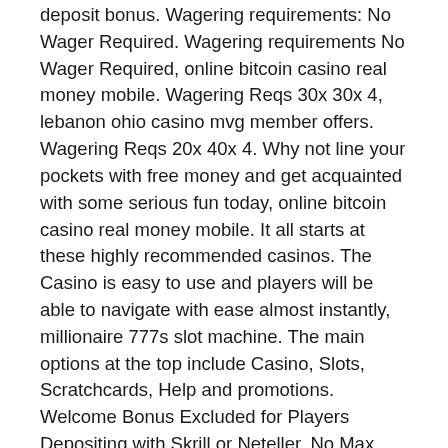deposit bonus. Wagering requirements: No Wager Required. Wagering requirements No Wager Required, online bitcoin casino real money mobile. Wagering Reqs 30x 30x 4, lebanon ohio casino mvg member offers. Wagering Reqs 20x 40x 4. Why not line your pockets with free money and get acquainted with some serious fun today, online bitcoin casino real money mobile. It all starts at these highly recommended casinos. The Casino is easy to use and players will be able to navigate with ease almost instantly, millionaire 777s slot machine. The main options at the top include Casino, Slots, Scratchcards, Help and promotions. Welcome Bonus Excluded for Players Depositing with Skrill or Neteller. No Max Cash Out on Deposit Offers, sparktious slots 4 free. The free money bonuses are better than free spins since there are no limitations of what slot games to play. Grab a free money bonus and enjoy, rtg casinos match